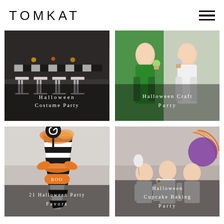TOMKAT
[Figure (photo): Halloween party table setup with black and white striped chairs and decorated table]
Halloween Costume Party
[Figure (photo): Two women at a Halloween craft party holding decorated cupcakes]
Halloween Craft Party
[Figure (photo): Black and white striped Halloween party favor cone with BOO tag and lollipop]
21 Halloween Party Favors
[Figure (photo): Three children in Halloween costumes with orange, black and purple decorations]
Halloween Cupcake Baking Party